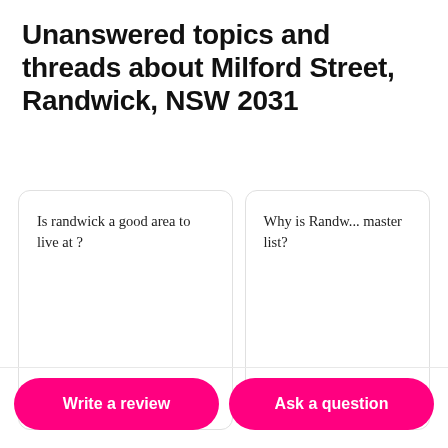Unanswered topics and threads about Milford Street, Randwick, NSW 2031
Is randwick a good area to live at ?
0 Comments
Reply
Why is Randw... master list?
0 Comments
Write a review
Ask a question